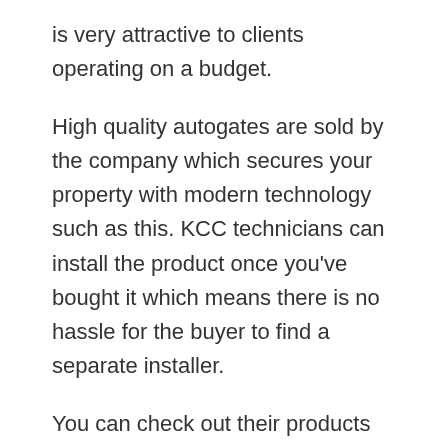is very attractive to clients operating on a budget.
High quality autogates are sold by the company which secures your property with modern technology such as this. KCC technicians can install the product once you’ve bought it which means there is no hassle for the buyer to find a separate installer.
You can check out their products and services at their Facebook page. Once you have chosen the product you want installed, then it would be time to set an appointment for the installation work that needs to be done for your specific product.